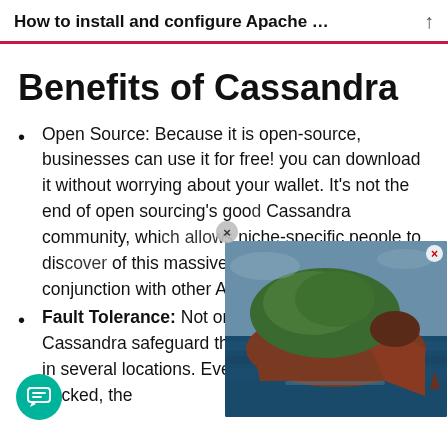How to install and configure Apache …
Benefits of Cassandra
Open Source: Because it is open-source, businesses can use it for free! you can download it without worrying about your wallet. It's not the end of open sourcing's good … Cassandra community, whi… niche-specific people to dis… of this massive open-sourc… used in conjunction with other Apache projects.
Fault Tolerance: Not only does Apache Cassandra safeguard the data, but it also stores it in several locations. Even if one server fails or is hacked, the
[Figure (photo): Aerial photograph of a rocky island surrounded by ocean water, with green vegetation on top and steep red-brown cliffs.]